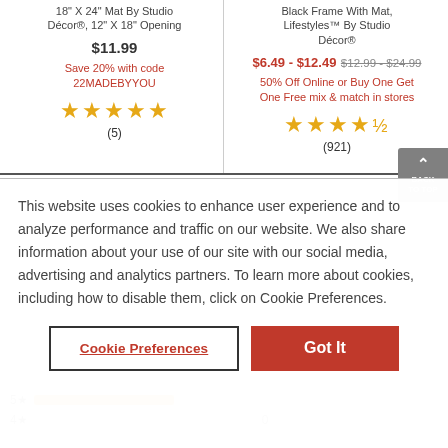18" X 24" Mat By Studio Décor®, 12" X 18" Opening
$11.99
Save 20% with code 22MADEBYYOU
★★★★★
(5)
Black Frame With Mat, Lifestyles™ By Studio Décor®
$6.49 - $12.49 $12.99 - $24.99
50% Off Online or Buy One Get One Free mix & match in stores
★★★★½
(921)
This website uses cookies to enhance user experience and to analyze performance and traffic on our website. We also share information about your use of our site with our social media, advertising and analytics partners. To learn more about cookies, including how to disable them, click on Cookie Preferences.
Cookie Preferences
Got It
4★    0